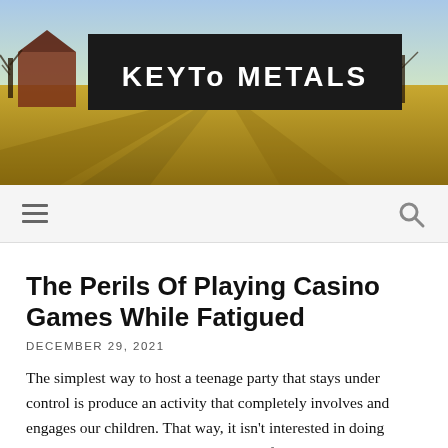[Figure (photo): Header banner photo of a rural farm scene with golden fields, bare trees, and a red barn under a blue sky. A dark/black rectangular overlay is centered in the upper portion containing the site logo text 'KEYTo METALS' in white bold uppercase letters.]
KEYTo METALS
The Perils Of Playing Casino Games While Fatigued
DECEMBER 29, 2021
The simplest way to host a teenage party that stays under control is produce an activity that completely involves and engages our children. That way, it isn't interested in doing points you wouldn't like them doing. Of course, they want socialize, creating the parameters